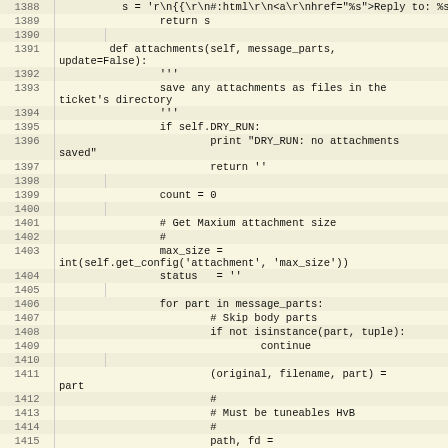Source code listing, lines 1388-1415, Python code for attachments handling